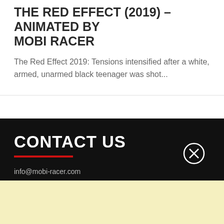THE RED EFFECT (2019) – ANIMATED BY MOBI RACER
The Red Effect 2019: Tensions intensified after a white, armed, unarmed black teenager was shot...
CONTACT US
info@mobi-racer.com
Search